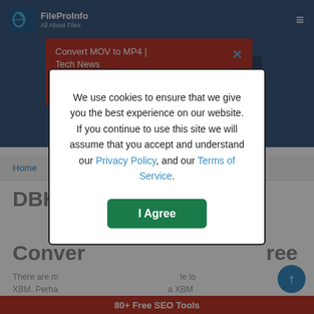FileProInfo — All About Files
[Figure (screenshot): Website screenshot showing FileProInfo header navigation, background image with DEFIANCE text, a red popup banner with 'Convert MOV to MP4 | Tech News' and 'Introducing Our', a cookie consent modal, breadcrumb 'Home', page title 'DBK to ... Convert... ree', body text, bottom red bar '80+ Free SEO Tools', and scroll-to-top button.]
Convert MOV to MP4 | Tech News
Introducing Our
Home
DBK to ... Conver... ree
There are m... le to XBM. Perha... a XBM can be rea... s limited
We use cookies to ensure that we give you the best experience on our website. If you continue to use this site we will assume that you accept and understand our Privacy Policy, and our Terms of Service.
I Agree
80+ Free SEO Tools